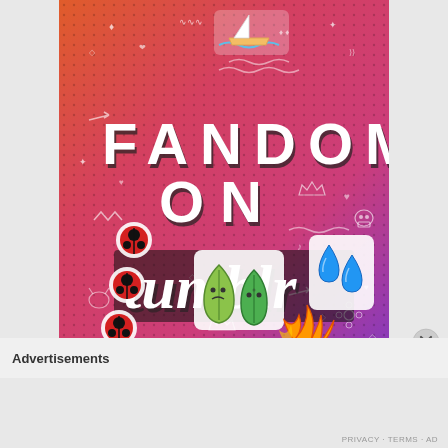[Figure (illustration): Tumblr 'Fandom on Tumblr' promotional graphic. Orange-to-pink-to-purple gradient background with white doodles (stars, hearts, crowns, arrows, skulls, cats, leaves, flowers, waves). Bold white text reads 'FANDOM ON tumblr'. Colorful stickers: a boat on water, ladybugs in white circles, blue water droplets, green leaf characters, orange flame wings.]
Advertisements